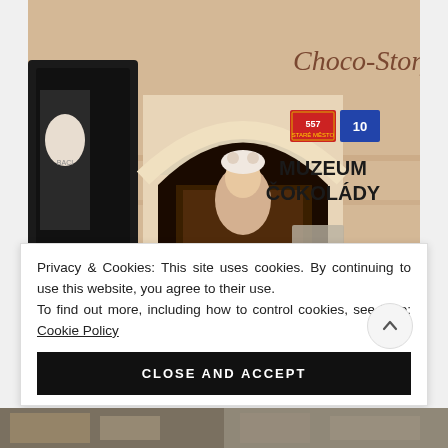[Figure (photo): Exterior facade of Choco-Story Muzeum Cokolady (Chocolate Museum) in Prague, showing the building entrance with an arched doorway, street numbers 557 and 10, and the museum name on the wall.]
Privacy & Cookies: This site uses cookies. By continuing to use this website, you agree to their use.
To find out more, including how to control cookies, see here: Cookie Policy
CLOSE AND ACCEPT